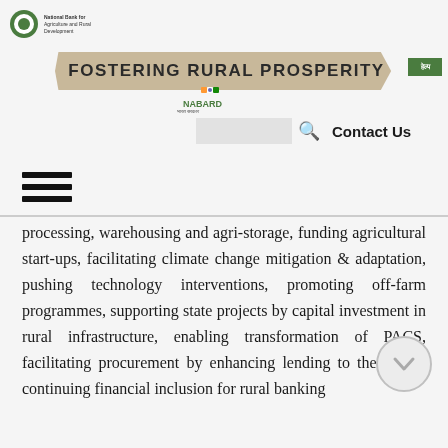NABARD - National Bank for Agriculture and Rural Development
FOSTERING RURAL PROSPERITY
[Figure (logo): NABARD logo with Indian flag colors and text]
Contact Us
processing, warehousing and agri-storage, funding agricultural start-ups, facilitating climate change mitigation & adaptation, pushing technology interventions, promoting off-farm programmes, supporting state projects by capital investment in rural infrastructure, enabling transformation of PACS, facilitating procurement by enhancing lending to the States, continuing financial inclusion for rural banking